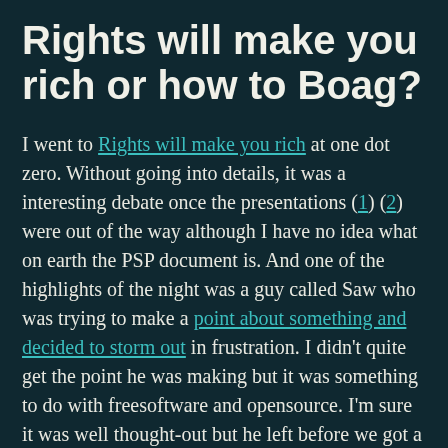Rights will make you rich or how to Boag?
I went to Rights will make you rich at one dot zero. Without going into details, it was a interesting debate once the presentations (1)(2) were out of the way although I have no idea what on earth the PSP document is. And one of the highlights of the night was a guy called Saw who was trying to make a point about something and decided to storm out in frustration. I didn't quite get the point he was making but it was something to do with freesoftware and opensource. I'm sure it was well thought-out but he left before we got a chance to talk. The rest of the evening